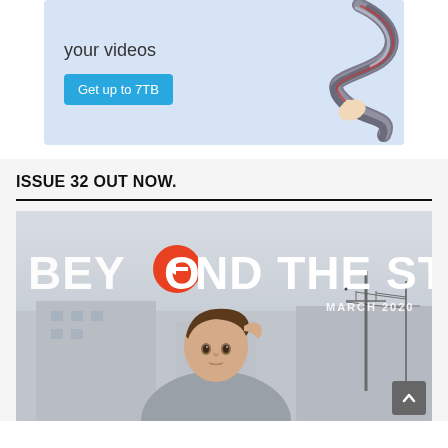[Figure (screenshot): Advertisement banner with light blue background showing text 'your videos' and 'Get up to 7TB' button, alongside a cartoon illustration of tied cables/ribbons]
ISSUE 32 OUT NOW.
[Figure (photo): Magazine cover for 'Beyond The Stage' March 2020 issue, showing a young man with hand in hair against an outdoor backdrop with utility poles]